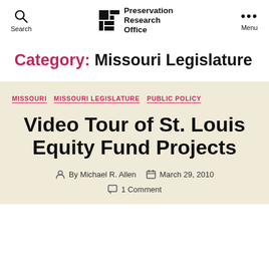Preservation Research Office — Search / Menu
Category: Missouri Legislature
MISSOURI   MISSOURI LEGISLATURE   PUBLIC POLICY
Video Tour of St. Louis Equity Fund Projects
By Michael R. Allen   March 29, 2010   1 Comment